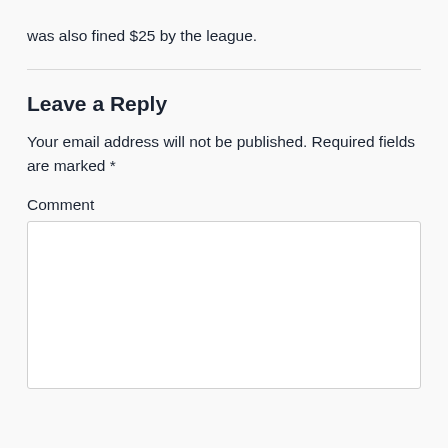was also fined $25 by the league.
Leave a Reply
Your email address will not be published. Required fields are marked *
Comment